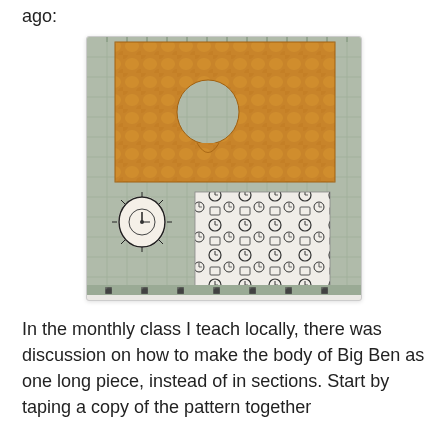ago:
[Figure (photo): Photo of quilting materials on a cutting mat. Top piece is a golden/orange textured fabric with a circular hole cut out. Bottom left is a small circular black and white clock-face embellishment. Bottom right is a square piece of black and white fabric printed with various clock designs.]
In the monthly class I teach locally, there was discussion on how to make the body of Big Ben as one long piece, instead of in sections. Start by taping a copy of the pattern together